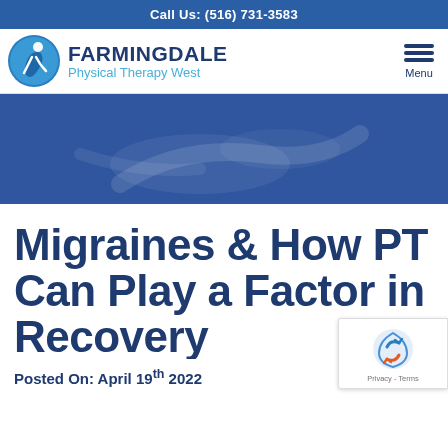Call Us: (516) 731-3583
[Figure (logo): Farmingdale Physical Therapy West logo with blue circle and figure, bold dark blue FARMINGDALE text, light blue Physical Therapy West subtitle, and hamburger menu icon with Menu label]
[Figure (photo): Blue-tinted hero banner image showing a physical therapy scene with a semi-transparent dark blue overlay]
Migraines & How PT Can Play a Factor in Recovery
Posted On: April 19th 2022